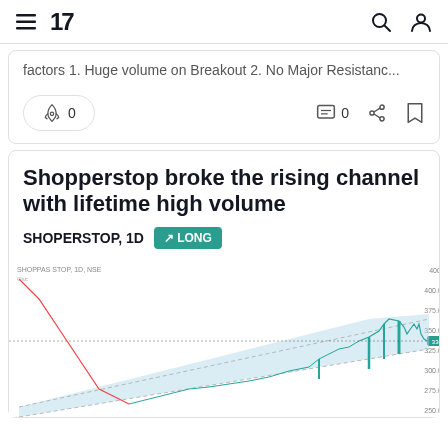TradingView navigation bar with menu, logo, search and account icons
factors 1. Huge volume on Breakout 2. No Major Resistanc...
[Figure (screenshot): Boost button with rocket icon and count 0, comment icon with count 0, share icon, bookmark icon]
Shopperstop broke the rising channel with lifetime high volume
SHOPERSTOP, 1D  ↗ LONG
[Figure (line-chart): SHOPPAS STOP, 1D, NSE stock chart showing a rising channel pattern with breakout and high volume. Y-axis shows price levels from about 225 to 400+. Chart shows price declining then recovering in a rising channel pattern with a breakout near the right side.]